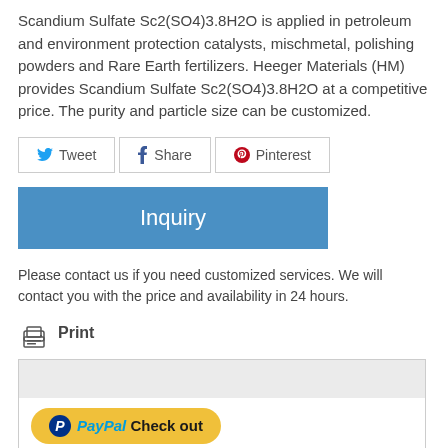Scandium Sulfate Sc2(SO4)3.8H2O is applied in petroleum and environment protection catalysts, mischmetal, polishing powders and Rare Earth fertilizers. Heeger Materials (HM) provides Scandium Sulfate Sc2(SO4)3.8H2O at a competitive price. The purity and particle size can be customized.
[Figure (screenshot): Social sharing buttons: Tweet (Twitter), Share (Facebook), Pinterest]
[Figure (screenshot): Blue Inquiry button]
Please contact us if you need customized services. We will contact you with the price and availability in 24 hours.
Print
[Figure (screenshot): PayPal checkout widget with PayPal Check out button, 'The safer, easier way to pay' text, VISA and MasterCard logos]